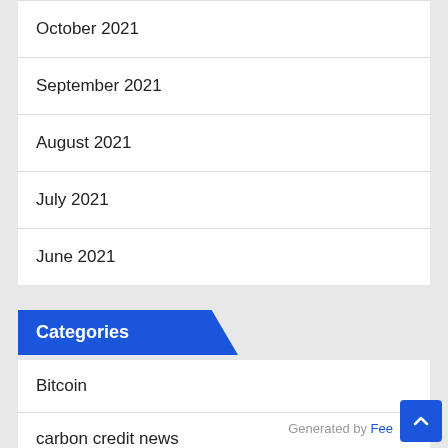October 2021
September 2021
August 2021
July 2021
June 2021
Categories
Bitcoin
carbon credit news